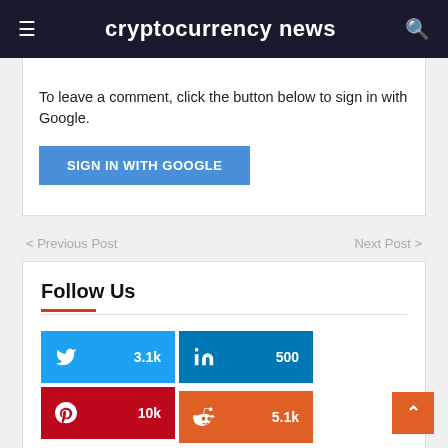cryptocurrency news
To leave a comment, click the button below to sign in with Google.
SIGN IN WITH GOOGLE
< Previous Post
Next Post >
Follow Us
Twitter 3.1k
LinkedIn 500
Pinterest 10k
Reddit 5.1k